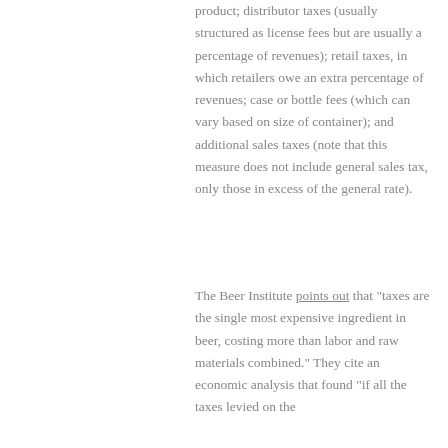product; distributor taxes (usually structured as license fees but are usually a percentage of revenues); retail taxes, in which retailers owe an extra percentage of revenues; case or bottle fees (which can vary based on size of container); and additional sales taxes (note that this measure does not include general sales tax, only those in excess of the general rate).
The Beer Institute points out that "taxes are the single most expensive ingredient in beer, costing more than labor and raw materials combined." They cite an economic analysis that found "if all the taxes levied on the